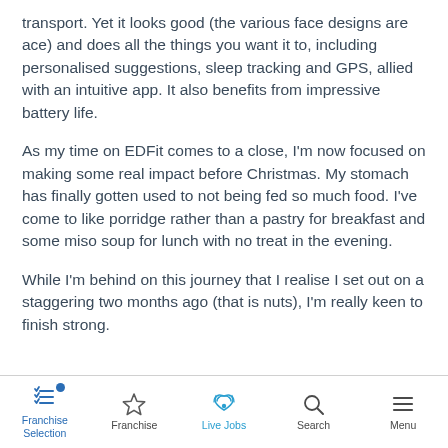transport. Yet it looks good (the various face designs are ace) and does all the things you want it to, including personalised suggestions, sleep tracking and GPS, allied with an intuitive app. It also benefits from impressive battery life.
As my time on EDFit comes to a close, I'm now focused on making some real impact before Christmas. My stomach has finally gotten used to not being fed so much food. I've come to like porridge rather than a pastry for breakfast and some miso soup for lunch with no treat in the evening.
While I'm behind on this journey that I realise I set out on a staggering two months ago (that is nuts), I'm really keen to finish strong.
Franchise Selection | Franchise | Live Jobs | Search | Menu